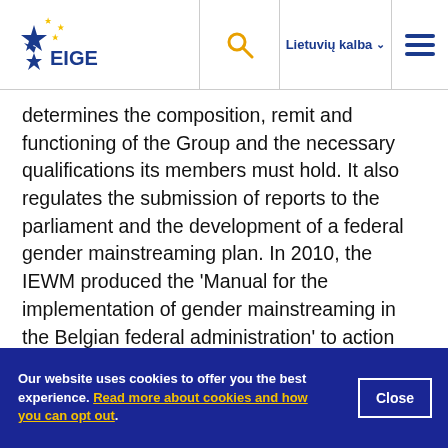EIGE logo | Search | Lietuvių kalba | Menu
determines the composition, remit and functioning of the Group and the necessary qualifications its members must hold. It also regulates the submission of reports to the parliament and the development of a federal gender mainstreaming plan. In 2010, the IEWM produced the 'Manual for the implementation of gender mainstreaming in the Belgian federal administration' to action this strategy.
Our website uses cookies to offer you the best experience. Read more about cookies and how you can opt out.